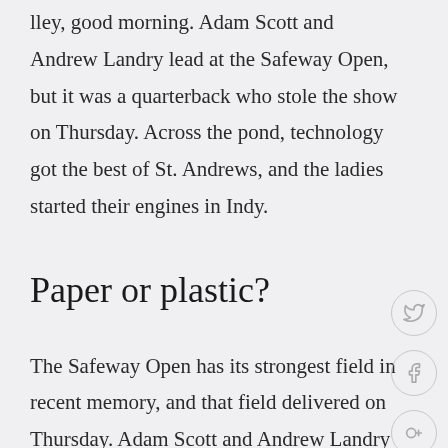...lley, good morning. Adam Scott and Andrew Landry lead at the Safeway Open, but it was a quarterback who stole the show on Thursday. Across the pond, technology got the best of St. Andrews, and the ladies started their engines in Indy.
Paper or plastic?
The Safeway Open has its strongest field in recent memory, and that field delivered on Thursday. Adam Scott and Andrew Landry shot first-round 65s at Silverado Country Club,